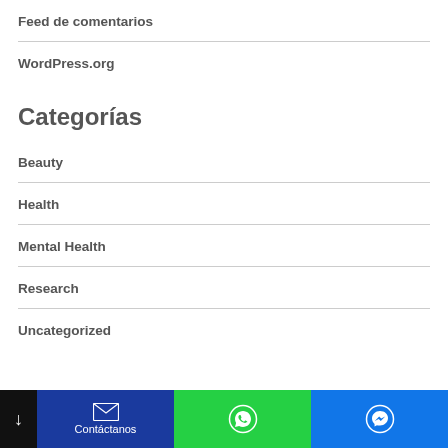Feed de comentarios
WordPress.org
Categorías
Beauty
Health
Mental Health
Research
Uncategorized
Contáctanos